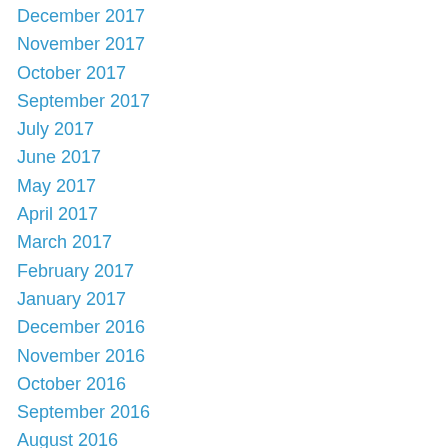December 2017
November 2017
October 2017
September 2017
July 2017
June 2017
May 2017
April 2017
March 2017
February 2017
January 2017
December 2016
November 2016
October 2016
September 2016
August 2016
July 2016
June 2016
May 2016
April 2016